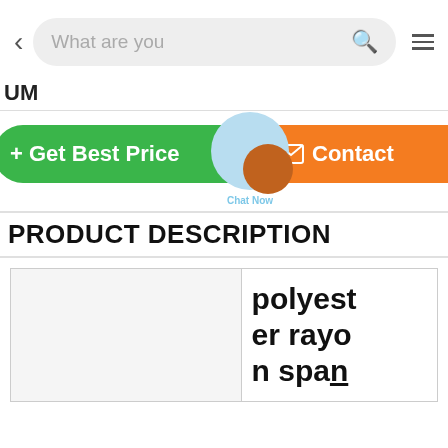[Figure (screenshot): Mobile app navigation bar with back arrow, search box showing 'What are you', search icon, and menu icon]
UM
[Figure (screenshot): Two action buttons: green 'Get Best Price' button on left and orange 'Contact' button on right, with a 'Chat Now' bubble overlay in the center]
PRODUCT DESCRIPTION
|  | polyester rayo n span |